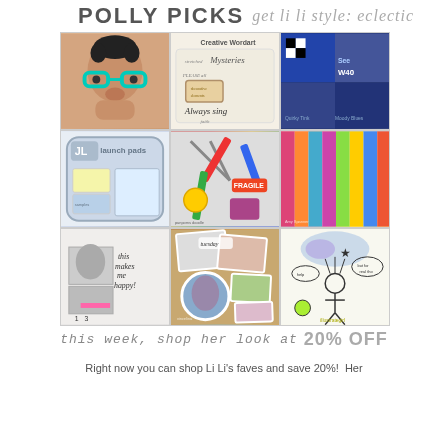POLLY PICKS  get li li style: eclectic
[Figure (photo): 3x3 grid of scrapbooking/digital art product images: person with teal glasses, creative wordart, moody blues collage, launch pads journal, colorful school supplies clip art, colorful paper borders, scrapbook layout 'this makes me happy', Tuesday photo collage, illustrated doodle art]
this week, shop her look at 20% OFF
Right now you can shop Li Li's faves and save 20%!  Her